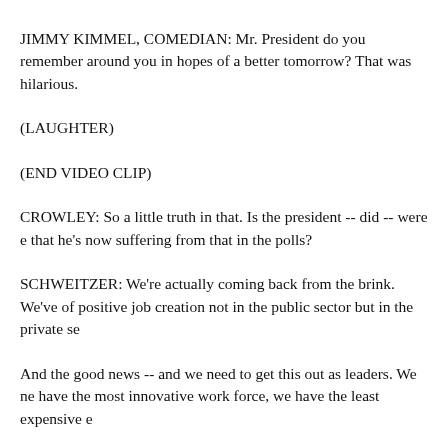JIMMY KIMMEL, COMEDIAN: Mr. President do you remember around you in hopes of a better tomorrow? That was hilarious.
(LAUGHTER)
(END VIDEO CLIP)
CROWLEY: So a little truth in that. Is the president -- did -- were e that he's now suffering from that in the polls?
SCHWEITZER: We're actually coming back from the brink. We've of positive job creation not in the public sector but in the private se
And the good news -- and we need to get this out as leaders. We ne have the most innovative work force, we have the least expensive e